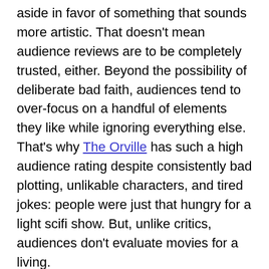aside in favor of something that sounds more artistic. That doesn't mean audience reviews are to be completely trusted, either. Beyond the possibility of deliberate bad faith, audiences tend to over-focus on a handful of elements they like while ignoring everything else. That's why The Orville has such a high audience rating despite consistently bad plotting, unlikable characters, and tired jokes: people were just that hungry for a light scifi show. But, unlike critics, audiences don't evaluate movies for a living.
Mythcreants relies on the support of readers like you. Help us create quality content by becoming a patron today.